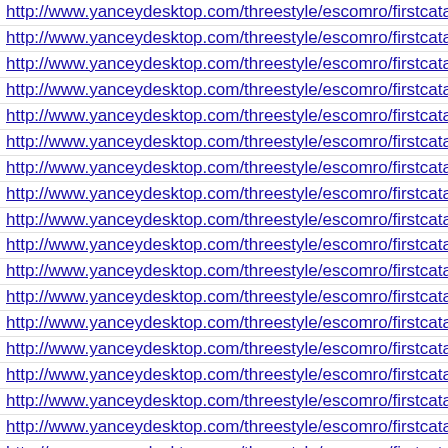http://www.yanceydesktop.com/threestyle/escomro/firstcatalog/2499
http://www.yanceydesktop.com/threestyle/escomro/firstcatalog/2499
http://www.yanceydesktop.com/threestyle/escomro/firstcatalog/2498
http://www.yanceydesktop.com/threestyle/escomro/firstcatalog/2498
http://www.yanceydesktop.com/threestyle/escomro/firstcatalog/2497
http://www.yanceydesktop.com/threestyle/escomro/firstcatalog/2496
http://www.yanceydesktop.com/threestyle/escomro/firstcatalog/2495
http://www.yanceydesktop.com/threestyle/escomro/firstcatalog/2495
http://www.yanceydesktop.com/threestyle/escomro/firstcatalog/2495
http://www.yanceydesktop.com/threestyle/escomro/firstcatalog/2495
http://www.yanceydesktop.com/threestyle/escomro/firstcatalog/2495
http://www.yanceydesktop.com/threestyle/escomro/firstcatalog/2495
http://www.yanceydesktop.com/threestyle/escomro/firstcatalog/2495
http://www.yanceydesktop.com/threestyle/escomro/firstcatalog/2495
http://www.yanceydesktop.com/threestyle/escomro/firstcatalog/2495
http://www.yanceydesktop.com/threestyle/escomro/firstcatalog/2495
http://www.yanceydesktop.com/threestyle/escomro/firstcatalog/2494
http://www.yanceydesktop.com/threestyle/escomro/firstcatalog/2494
http://www.yanceydesktop.com/threestyle/escomro/firstcatalog/2494
http://www.yanceydesktop.com/threestyle/escomro/firstcatalog/2494
http://www.yanceydesktop.com/threestyle/escomro/firstcatalog/2494
http://www.yanceydesktop.com/threestyle/escomro/firstcatalog/2494
http://www.yanceydesktop.com/threestyle/escomro/firstcatalog/2494
http://www.yanceydesktop.com/threestyle/escomro/firstcatalog/2493
http://www.yanceydesktop.com/threestyle/escomro/firstcatalog/2493